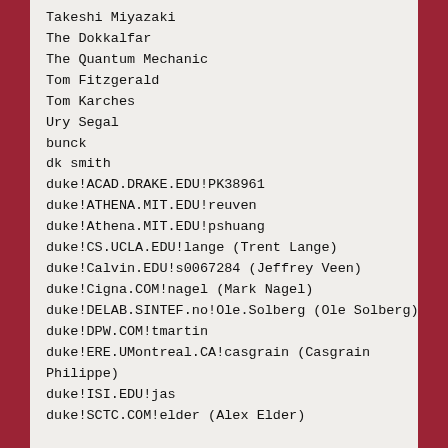Takeshi Miyazaki
The Dokkalfar
The Quantum Mechanic
Tom Fitzgerald
Tom Karches
Ury Segal
bunck
dk smith
duke!ACAD.DRAKE.EDU!PK38961
duke!ATHENA.MIT.EDU!reuven
duke!Athena.MIT.EDU!pshuang
duke!CS.UCLA.EDU!lange (Trent Lange)
duke!Calvin.EDU!s0067284 (Jeffrey Veen)
duke!Cigna.COM!nagel (Mark Nagel)
duke!DELAB.SINTEF.no!Ole.Solberg (Ole Solberg)
duke!DPW.COM!tmartin
duke!ERE.UMontreal.CA!casgrain (Casgrain Philippe)
duke!ISI.EDU!jas
duke!SCTC.COM!elder (Alex Elder)